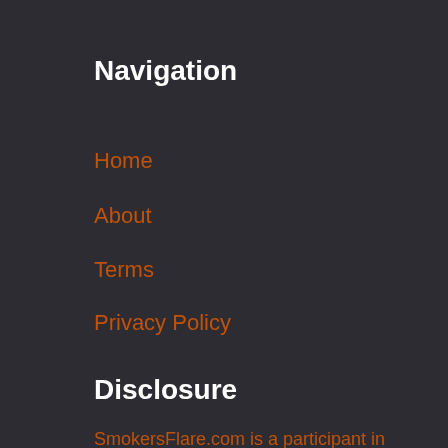Navigation
Home
About
Terms
Privacy Policy
Affiliate Disclosure
Contact
Disclosure
SmokersFlare.com is a participant in the Amazon Affiliate program. Affiliate Program is